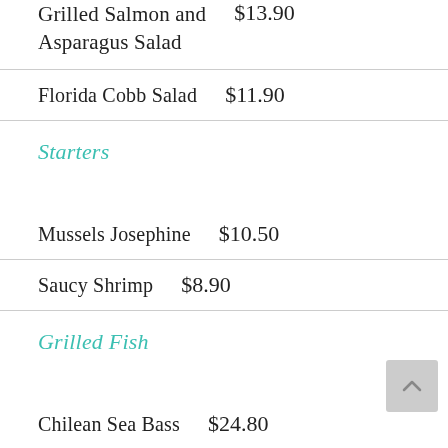Grilled Salmon and Asparagus Salad  $13.90
Florida Cobb Salad  $11.90
Starters
Mussels Josephine  $10.50
Saucy Shrimp  $8.90
Grilled Fish
Chilean Sea Bass  $24.80
Atlantic Salmon  $14.80
Sea Scallops and  $16.90